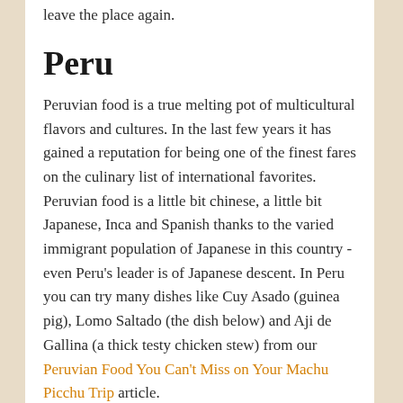leave the place again.
Peru
Peruvian food is a true melting pot of multicultural flavors and cultures. In the last few years it has gained a reputation for being one of the finest fares on the culinary list of international favorites. Peruvian food is a little bit chinese, a little bit Japanese, Inca and Spanish thanks to the varied immigrant population of Japanese in this country - even Peru's leader is of Japanese descent. In Peru you can try many dishes like Cuy Asado (guinea pig), Lomo Saltado (the dish below) and Aji de Gallina (a thick testy chicken stew) from our Peruvian Food You Can't Miss on Your Machu Picchu Trip article.